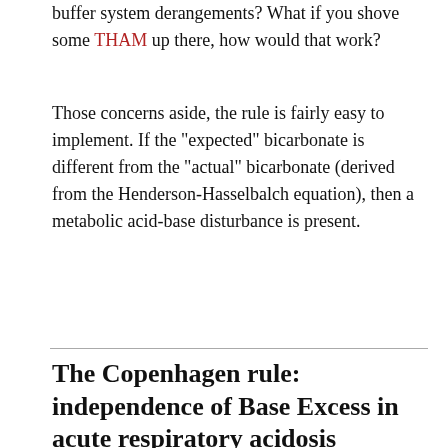buffer system derangements? What if you shove some THAM up there, how would that work?
Those concerns aside, the rule is fairly easy to implement. If the "expected" bicarbonate is different from the "actual" bicarbonate (derived from the Henderson-Hasselbalch equation), then a metabolic acid-base disturbance is present.
The Copenhagen rule: independence of Base Excess in acute respiratory acidosis
An acute increase in PaCO2 will not change the Standard Base